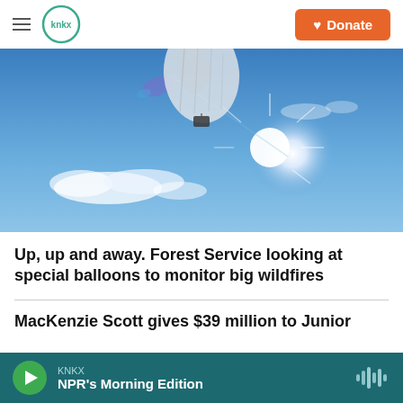KNKX | Donate
[Figure (photo): A large weather balloon ascending against a bright blue sky with sun and clouds visible]
Up, up and away. Forest Service looking at special balloons to monitor big wildfires
MacKenzie Scott gives $39 million to Junior
KNKX | NPR's Morning Edition